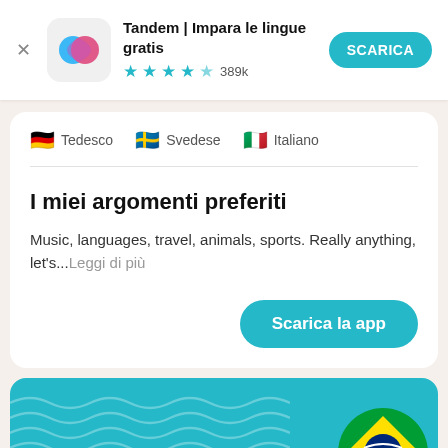[Figure (screenshot): Tandem app banner with icon, title 'Tandem | Impara le lingue gratis', star rating 4.5 stars 389k, and SCARICA button]
Tedesco  Svedese  Italiano
I miei argomenti preferiti
Music, languages, travel, animals, sports. Really anything, let's...Leggi di più
Scarica la app
Trova più di